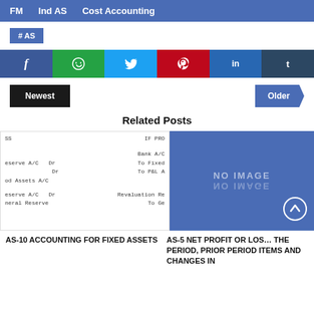FM   Ind AS   Cost Accounting
#AS
[Figure (infographic): Social sharing buttons: Facebook, WhatsApp, Twitter, Pinterest, LinkedIn, Tumblr]
Newest
Older
Related Posts
[Figure (screenshot): Partial accounting journal entries showing Bank A/C, Fixed Assets A/C, P&L A/C, Revaluation Reserve, General Reserve entries]
[Figure (photo): No Image placeholder with blue background]
AS-10 ACCOUNTING FOR FIXED ASSETS
AS-5 NET PROFIT OR LOSS FOR THE PERIOD, PRIOR PERIOD ITEMS AND CHANGES IN